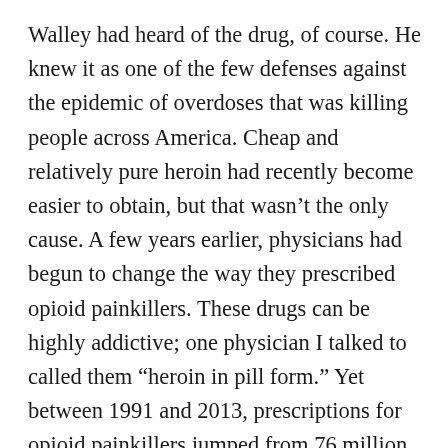Walley had heard of the drug, of course. He knew it as one of the few defenses against the epidemic of overdoses that was killing people across America. Cheap and relatively pure heroin had recently become easier to obtain, but that wasn't the only cause. A few years earlier, physicians had begun to change the way they prescribed opioid painkillers. These drugs can be highly addictive; one physician I talked to called them “heroin in pill form.” Yet between 1991 and 2013, prescriptions for opioid painkillers jumped from 76 million to 207 million per year, partly because physicians became more willing to prescribe the drugs to patients with chronic pain. Some of these patients found